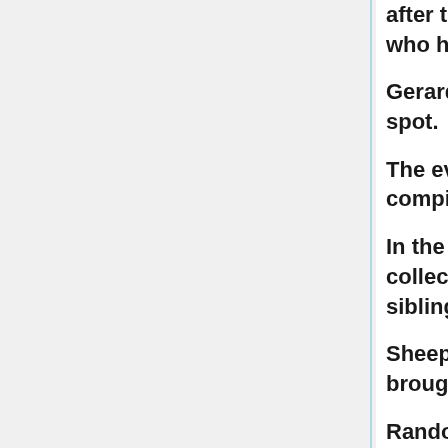after this Flora began teaching shapechange skills to siblings who had thought little could be learned from her.
Gerard had children of course and trumped Truman in on the spot.
The evening went on and more names were given. Lists were compiled.
In the end Random sent Bleys and Gerard and Caine out to collect the Kin of Bariman. This did not endear him to his siblings.
Sheepishly, and not without a fair bit of worry, his siblings brought their children to court.
Random met them, assigned Fiona to over see their magical instruction, Gerard to over see their martial